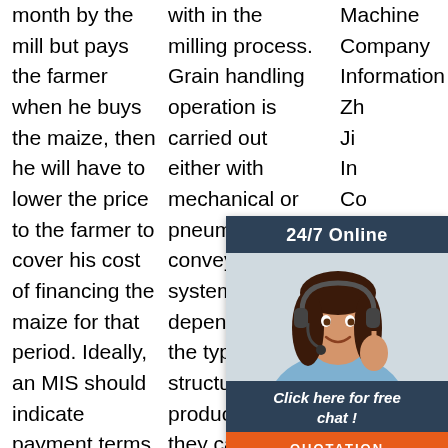month by the mill but pays the farmer when he buys the maize, then he will have to lower the price to the farmer to cover his cost of financing the maize for that period. Ideally, an MIS should indicate payment terms when quoting
with in the milling process. Grain handling operation is carried out either with mechanical or pneumatic conveying systems depending on the type and structure of product, and they can be supplied as a
Machine Company Information Zh... Ji... In... Co... sp... sta... en... te... company that is engaged in a variety of starch engineering
[Figure (infographic): 24/7 Online chat popup with photo of woman wearing headset, dark navy header saying '24/7 Online', body text 'Click here for free chat!', and orange QUOTATION button]
[Figure (logo): TOP logo with orange sparks/dots and orange text]